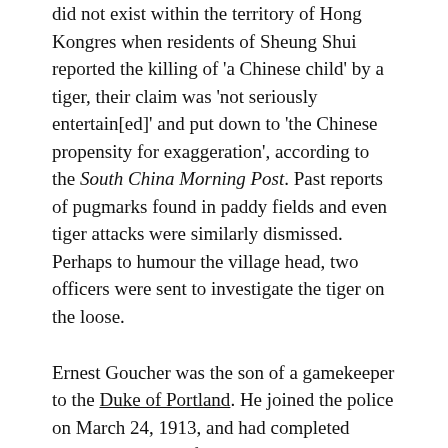did not exist within the territory of Hong Kongres when residents of Sheung Shui reported the killing of 'a Chinese child' by a tiger, their claim was 'not seriously entertain[ed]' and put down to 'the Chinese propensity for exaggeration', according to the South China Morning Post. Past reports of pugmarks found in paddy fields and even tiger attacks were similarly dismissed. Perhaps to humour the village head, two officers were sent to investigate the tiger on the loose.
Ernest Goucher was the son of a gamekeeper to the Duke of Portland. He joined the police on March 24, 1913, and had completed nearly two years of service. At 21, his superiors deemed him to be 'an officer of much promise'. The lush subtropical rainforest of Hong Kong and its New Territory to the north could not have been more alien to this young man who had been transplanted halfway across the world from his native hamlet of Belph, just north of Mansfield, a market town in Nottinghamshire.